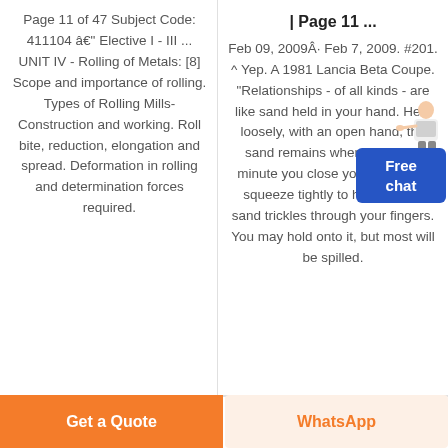Page 11 of 47 Subject Code: 411104 â€" Elective I - III ... UNIT IV - Rolling of Metals: [8] Scope and importance of rolling. Types of Rolling Mills- Construction and working. Roll bite, reduction, elongation and spread. Deformation in rolling and determination forces required.
| Page 11 ...
Feb 09, 2009Â· Feb 7, 2009. #201. ^ Yep. A 1981 Lancia Beta Coupe. "Relationships - of all kinds - are like sand held in your hand. Held loosely, with an open hand, the sand remains where it is. The minute you close your hand and squeeze tightly to hold on, the sand trickles through your fingers. You may hold onto it, but most will be spilled.
Get a Quote
WhatsApp